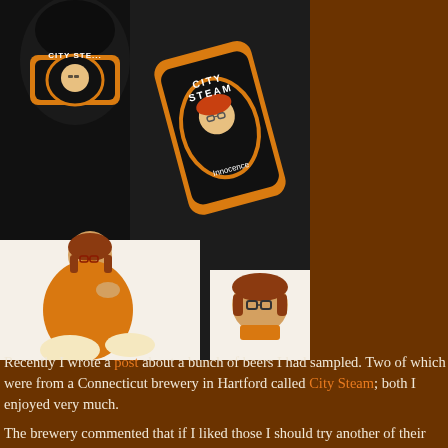[Figure (photo): Composite photo showing City Steam brewery beer bottles/cans with orange and black labels featuring a cartoon character with glasses, alongside illustrations of Velma from Scooby-Doo (a pin-up style drawing and a smaller cartoon image).]
Recently I wrote a post about a bunch of beers I had sampled.  Two of which were from a Connecticut brewery in Hartford called City Steam; both I enjoyed very much.

The brewery commented that if I liked those I should try another of their beers . . . "She's an IPA by the name of